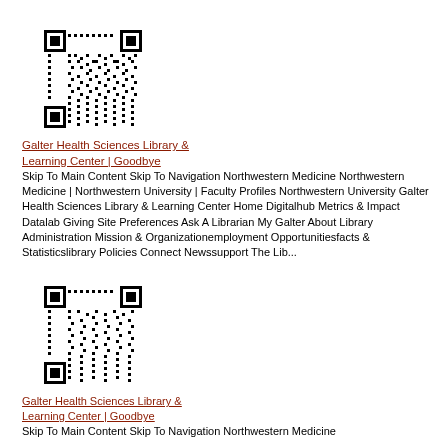[Figure (other): QR code image, black and white, square]
Galter Health Sciences Library & Learning Center | Goodbye
Skip To Main Content Skip To Navigation Northwestern Medicine Northwestern Medicine | Northwestern University | Faculty Profiles Northwestern University Galter Health Sciences Library & Learning Center Home Digitalhub Metrics & Impact Datalab Giving Site Preferences Ask A Librarian My Galter About Library Administration Mission & Organizationemployment Opportunitiesfacts & Statisticslibrary Policies Connect Newssupport The Lib...
[Figure (other): QR code image, black and white, square]
Galter Health Sciences Library & Learning Center | Goodbye
Skip To Main Content Skip To Navigation Northwestern Medicine